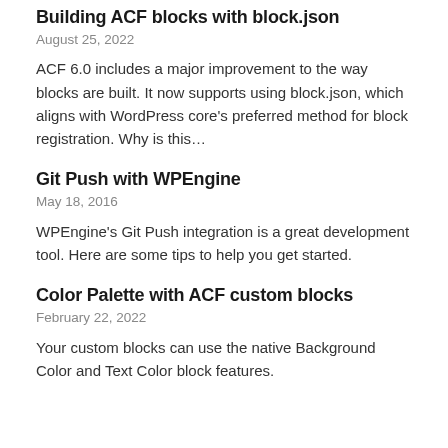Building ACF blocks with block.json
August 25, 2022
ACF 6.0 includes a major improvement to the way blocks are built. It now supports using block.json, which aligns with WordPress core's preferred method for block registration. Why is this…
Git Push with WPEngine
May 18, 2016
WPEngine's Git Push integration is a great development tool. Here are some tips to help you get started.
Color Palette with ACF custom blocks
February 22, 2022
Your custom blocks can use the native Background Color and Text Color block features.